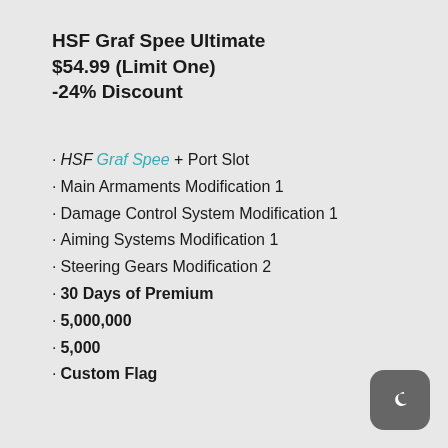HSF Graf Spee Ultimate
$54.99 (Limit One)
-24% Discount
HSF Graf Spee + Port Slot
Main Armaments Modification 1
Damage Control System Modification 1
Aiming Systems Modification 1
Steering Gears Modification 2
30 Days of Premium
5,000,000
5,000
Custom Flag
[Figure (logo): Dark rounded square icon with a crescent moon symbol]